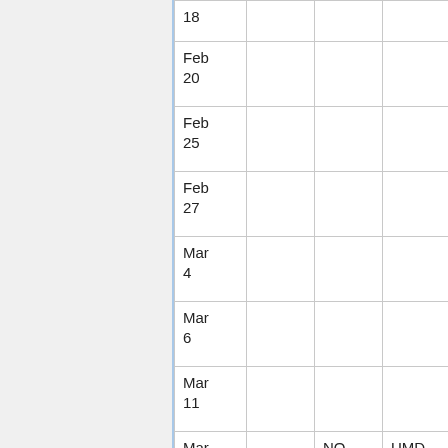| Date |  |  |  |
| --- | --- | --- | --- |
| 18 |  |  |  |
| Feb
20 |  |  |  |
| Feb
25 |  |  |  |
| Feb
27 |  |  |  |
| Mar
4 |  |  |  |
| Mar
6 |  |  |  |
| Mar
11 |  |  |  |
| Mar
13 |  | NO SESSION | UMD SPRING BREAK!! |
| Mar
18 |  | NO SESSION | UMD SPRING |